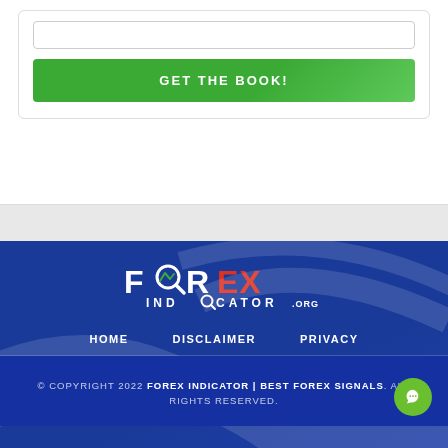[Figure (other): GET THE BOOK! green button inside a white card section at the top of the page]
[Figure (logo): FOREX INDICATOR .ORG logo in white and red text with a magnifying glass icon containing a chart line, on a dark blue background]
HOME   DISCLAIMER   PRIVACY
© COPYRIGHT 2022 FOREX INDICATOR | BEST FOREX SIGNALS. ALL RIGHTS RESERVED.